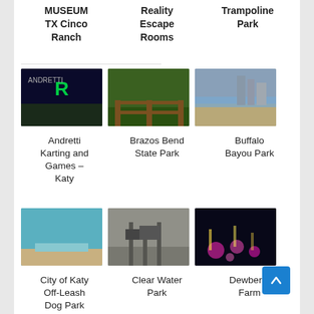MUSEUM TX Cinco Ranch
Reality Escape Rooms
Trampoline Park
[Figure (photo): Andretti Karting and Games building exterior at night with green R logo]
Andretti Karting and Games – Katy
[Figure (photo): Brazos Bend State Park with wooden fence and green trees]
Brazos Bend State Park
[Figure (photo): Buffalo Bayou Park with city skyline and water]
Buffalo Bayou Park
[Figure (photo): City of Katy Off-Leash Dog Park with teal water pond]
City of Katy Off-Leash Dog Park
[Figure (photo): Clear Water Park playground equipment]
Clear Water Park
[Figure (photo): Dewberry Farm at night with lights]
Dewberry Farm
[Figure (photo): Partial bottom image 1]
[Figure (photo): Partial bottom image 2]
[Figure (photo): Partial bottom image 3 with pink flowers]